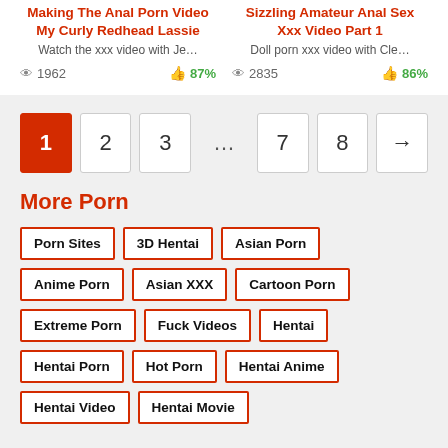Making The Anal Porn Video My Curly Redhead Lassie
Watch the xxx video with Je...
1962  87%
Sizzling Amateur Anal Sex Xxx Video Part 1
Doll porn xxx video with Cle...
2835  86%
1 2 3 ... 7 8 →
More Porn
Porn Sites
3D Hentai
Asian Porn
Anime Porn
Asian XXX
Cartoon Porn
Extreme Porn
Fuck Videos
Hentai
Hentai Porn
Hot Porn
Hentai Anime
Hentai Video
Hentai Movie